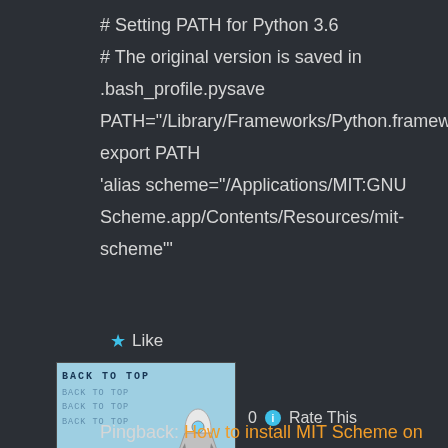# Setting PATH for Python 3.6
# The original version is saved in
.bash_profile.pysave
PATH="/Library/Frameworks/Python.framew…
export PATH
'alias scheme="/Applications/MIT:GNU Scheme.app/Contents/Resources/mit-scheme"'
[Figure (other): Back to Top button image with rocket icon and repeated 'BACK TO TOP' text in a light blue background]
★ Like
0  ⓘ Rate This
Pingback: How to install MIT Scheme on